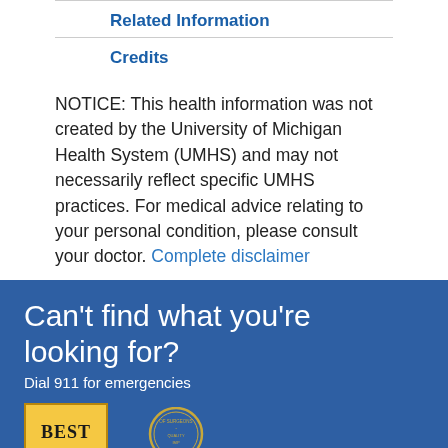Related Information
Credits
NOTICE: This health information was not created by the University of Michigan Health System (UMHS) and may not necessarily reflect specific UMHS practices. For medical advice relating to your personal condition, please consult your doctor. Complete disclaimer
Can't find what you're looking for?
Dial 911 for emergencies
[Figure (logo): BEST badge logo in gold/yellow]
[Figure (logo): Surgeons Quality Improvement badge/seal in gold circular design]